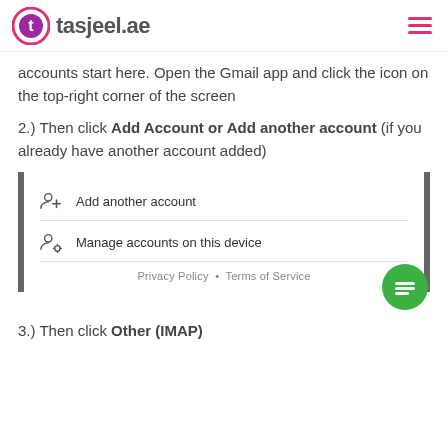tasjeel.ae
accounts start here. Open the Gmail app and click the icon on the top-right corner of the screen
2.) Then click Add Account or Add another account (if you already have another account added)
[Figure (screenshot): Gmail account menu showing 'Add another account' and 'Manage accounts on this device' options, with Privacy Policy and Terms of Service links at the bottom]
3.) Then click Other (IMAP)